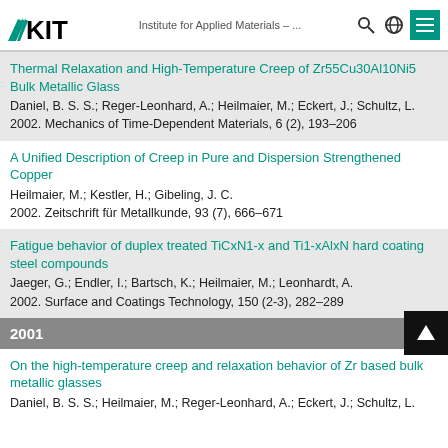KIT – Institute for Applied Materials – ...
Thermal Relaxation and High-Temperature Creep of Zr55Cu30Al10Ni5 Bulk Metallic Glass
Daniel, B. S. S.; Reger-Leonhard, A.; Heilmaier, M.; Eckert, J.; Schultz, L.
2002. Mechanics of Time-Dependent Materials, 6 (2), 193–206
A Unified Description of Creep in Pure and Dispersion Strengthened Copper
Heilmaier, M.; Kestler, H.; Gibeling, J. C.
2002. Zeitschrift für Metallkunde, 93 (7), 666–671
Fatigue behavior of duplex treated TiCxN1-x and Ti1-xAlxN hard coating steel compounds
Jaeger, G.; Endler, I.; Bartsch, K.; Heilmaier, M.; Leonhardt, A.
2002. Surface and Coatings Technology, 150 (2-3), 282–289
2001
On the high-temperature creep and relaxation behavior of Zr based bulk metallic glasses
Daniel, B. S. S.; Heilmaier, M.; Reger-Leonhard, A.; Eckert, J.; Schultz, L.